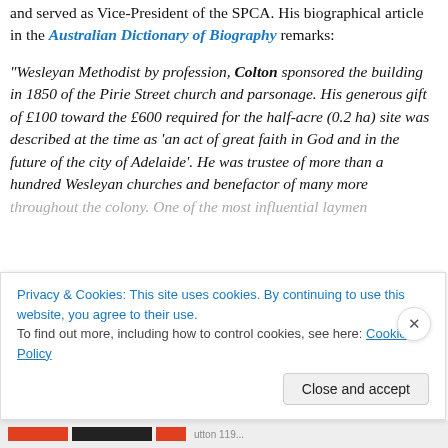and served as Vice-President of the SPCA. His biographical article in the Australian Dictionary of Biography remarks:
“Wesleyan Methodist by profession, Colton sponsored the building in 1850 of the Pirie Street church and parsonage. His generous gift of £100 toward the £600 required for the half-acre (0.2 ha) site was described at the time as ‘an act of great faith in God and in the future of the city of Adelaide’. He was trustee of more than a hundred Wesleyan churches and benefactor of many more throughout the colony. One of the most influential laymen
Privacy & Cookies: This site uses cookies. By continuing to use this website, you agree to their use.
To find out more, including how to control cookies, see here: Cookie Policy
Close and accept